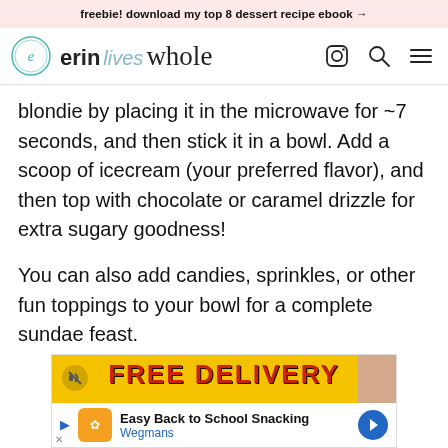freebie! download my top 8 dessert recipe ebook →
[Figure (logo): Erin Lives Whole website logo with circular icon and navigation icons (Instagram, search, hamburger menu)]
blondie by placing it in the microwave for ~7 seconds, and then stick it in a bowl. Add a scoop of icecream (your preferred flavor), and then top with chocolate or caramel drizzle for extra sugary goodness!
You can also add candies, sprinkles, or other fun toppings to your bowl for a complete sundae feast.
[Figure (screenshot): Advertisement banner: yellow background with 'FREE DELIVERY' text in large red letters, and a sub-banner showing 'Easy Back to School Snacking - Wegmans' with logo and navigation arrow]